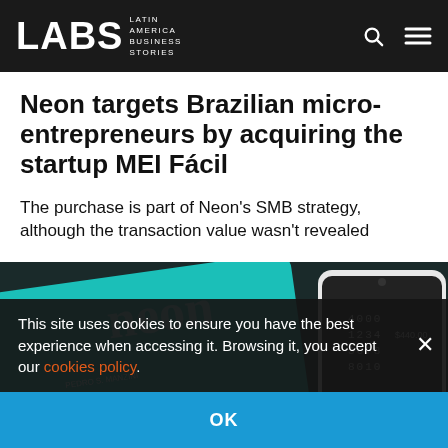LABS Latin America Business Stories
Neon targets Brazilian micro-entrepreneurs by acquiring the startup MEI Fácil
The purchase is part of Neon's SMB strategy, although the transaction value wasn't revealed
[Figure (photo): Photo of a teal Neon credit card (PEDRO S. MANZINI) alongside a smartphone displaying account number digits and balance $440.00, on a dark background with Neon branding.]
This site uses cookies to ensure you have the best experience when accessing it. Browsing it, you accept our cookies policy.
OK